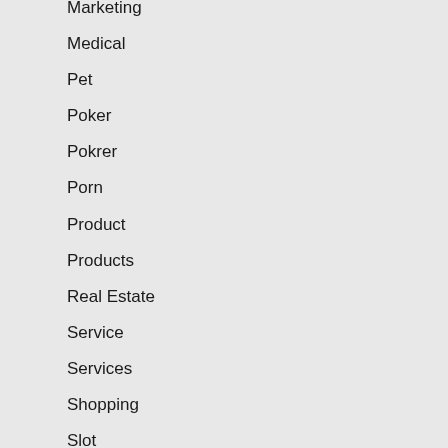Marketing
Medical
Pet
Poker
Pokrer
Porn
Product
Products
Real Estate
Service
Services
Shopping
Slot
Slots